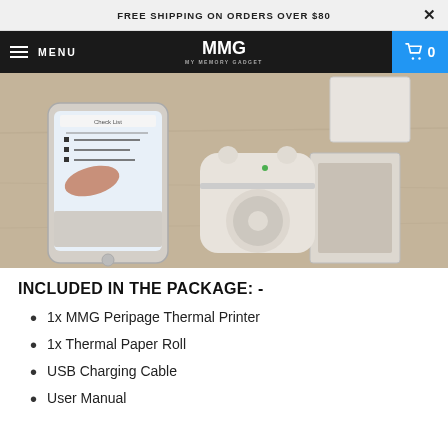FREE SHIPPING ON ORDERS OVER $80
[Figure (screenshot): Screenshot of a person using a smartphone with a checklist app, next to a white Peripage thermal printer and instruction booklet on a wooden table.]
INCLUDED IN THE PACKAGE: -
1x MMG Peripage Thermal Printer
1x Thermal Paper Roll
USB Charging Cable
User Manual